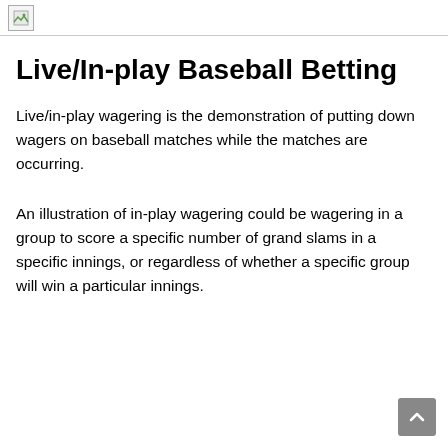[image placeholder]
Live/In-play Baseball Betting
Live/in-play wagering is the demonstration of putting down wagers on baseball matches while the matches are occurring.
An illustration of in-play wagering could be wagering in a group to score a specific number of grand slams in a specific innings, or regardless of whether a specific group will win a particular innings.